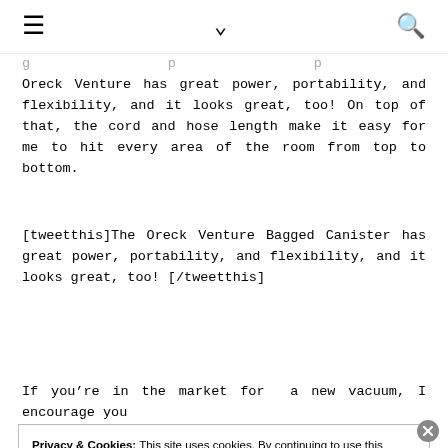≡  ∨  🔍
…g…p…p… Oreck Venture has great power, portability, and flexibility, and it looks great, too! On top of that, the cord and hose length make it easy for me to hit every area of the room from top to bottom.
[tweetthis]The Oreck Venture Bagged Canister has great power, portability, and flexibility, and it looks great, too! [/tweetthis]
If you're in the market for a new vacuum, I encourage you
Privacy & Cookies: This site uses cookies. By continuing to use this website, you agree to their use.
To find out more, including how to control cookies, see here: Cookie Policy
Close and accept
truthful.